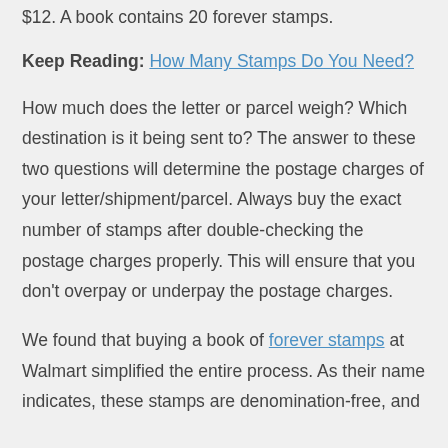$12. A book contains 20 forever stamps.
Keep Reading: How Many Stamps Do You Need?
How much does the letter or parcel weigh? Which destination is it being sent to? The answer to these two questions will determine the postage charges of your letter/shipment/parcel. Always buy the exact number of stamps after double-checking the postage charges properly. This will ensure that you don't overpay or underpay the postage charges.
We found that buying a book of forever stamps at Walmart simplified the entire process. As their name indicates, these stamps are denomination-free, and